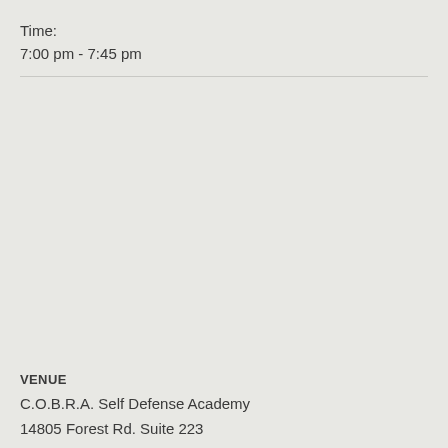Time:
7:00 pm - 7:45 pm
VENUE
C.O.B.R.A. Self Defense Academy
14805 Forest Rd. Suite 223